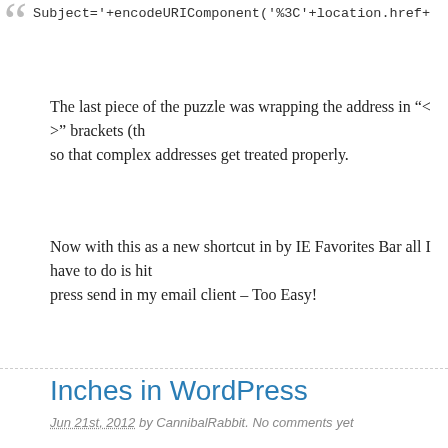Subject='+encodeURIComponent('%3C'+location.href+
The last piece of the puzzle was wrapping the address in "< >" brackets (th so that complex addresses get treated properly.
Now with this as a new shortcut in by IE Favorites Bar all I have to do is hit press send in my email client – Too Easy!
Inches in WordPress
Jun 21st, 2012 by CannibalRabbit. No comments yet
How do you get the inches sign (") into a WordPress 3.4 post?
It should be easy, just click on the custom character button on the TinyMCE